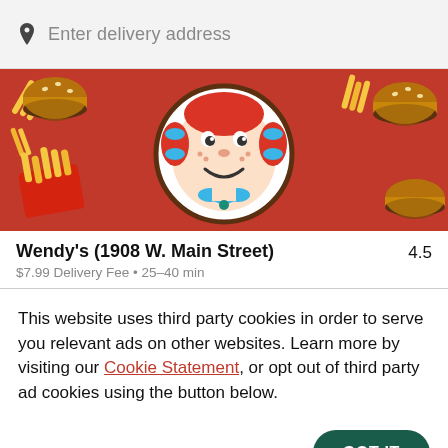Enter delivery address
[Figure (photo): Wendy's restaurant banner image showing the Wendy's logo (girl with pigtails) surrounded by burgers and french fries on a red background]
Wendy's (1908 W. Main Street)
4.5
$7.99 Delivery Fee • 25-40 min
This website uses third party cookies in order to serve you relevant ads on other websites. Learn more by visiting our Cookie Statement, or opt out of third party ad cookies using the button below.
OPT OUT
GOT IT